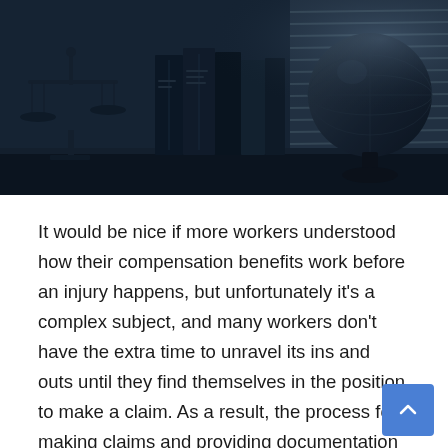[Figure (photo): Dark blue-toned photograph showing a justice scale statue, law books, and a globe on a desk near a window with blinds]
It would be nice if more workers understood how their compensation benefits work before an injury happens, but unfortunately it's a complex subject, and many workers don't have the extra time to unravel its ins and outs until they find themselves in the position to make a claim. As a result, the process for making claims and providing documentation of the injury is often something that is reviewed in a rush. It would help if someone with more experience and familiarity with the system